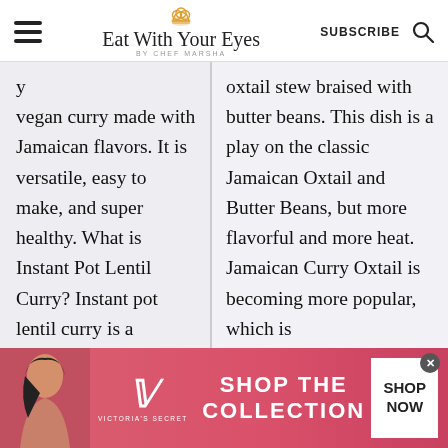Eat With Your Eyes by Chef Marsha — SUBSCRIBE
vegan curry made with Jamaican flavors. It is versatile, easy to make, and super healthy. What is Instant Pot Lentil Curry? Instant pot lentil curry is a delicious, vegan,
oxtail stew braised with butter beans. This dish is a play on the classic Jamaican Oxtail and Butter Beans, but more flavorful and more heat. Jamaican Curry Oxtail is becoming more popular, which is
[Figure (other): Victoria's Secret advertisement banner with model, VS logo, 'SHOP THE COLLECTION' text, and 'SHOP NOW' button]